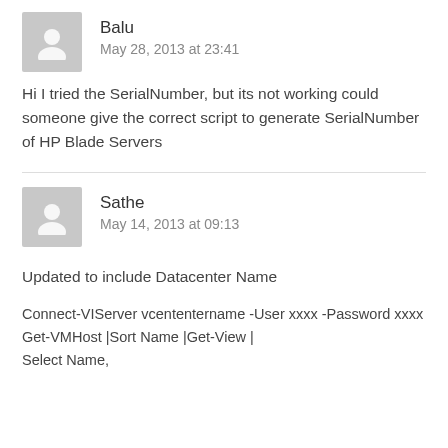Balu
May 28, 2013 at 23:41
Hi I tried the SerialNumber, but its not working could someone give the correct script to generate SerialNumber of HP Blade Servers
Sathe
May 14, 2013 at 09:13
Updated to include Datacenter Name
Connect-VIServer vcententername -User xxxx -Password xxxx
Get-VMHost |Sort Name |Get-View |
Select Name,